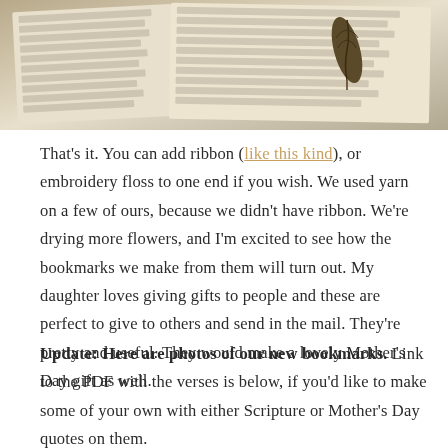[Figure (photo): Photo of an open book with printed text and a dried leaf/plant pressed between the pages as a bookmark]
That's it. You can add ribbon (like this kind), or embroidery floss to one end if you wish. We used yarn on a few of ours, because we didn't have ribbon. We're drying more flowers, and I'm excited to see how the bookmarks we make from them will turn out. My daughter loves giving gifts to people and these are perfect to give to others and send in the mail. They're pretty and useful. They would make a lovely Mother's Day gift as well.
Update: Here are photos of our new bookmarks. Link to the PDF with the verses is below, if you'd like to make some of your own with either Scripture or Mother's Day quotes on them.